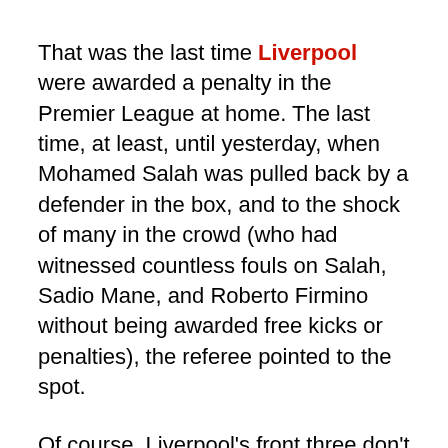That was the last time Liverpool were awarded a penalty in the Premier League at home. The last time, at least, until yesterday, when Mohamed Salah was pulled back by a defender in the box, and to the shock of many in the crowd (who had witnessed countless fouls on Salah, Sadio Mane, and Roberto Firmino without being awarded free kicks or penalties), the referee pointed to the spot.
Of course, Liverpool's front three don't quite look like conventional British attackers. All of them are from other countries. You know, the ones that dive to gain an advantage. Not like nice English lads. Harry Kane would never…